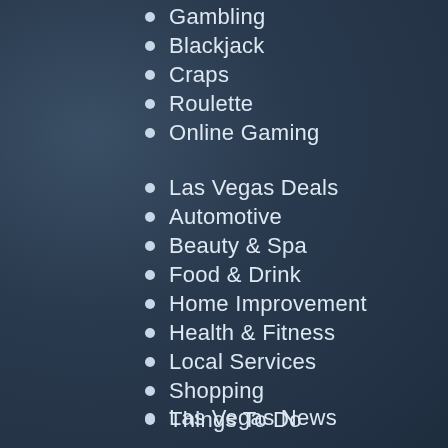Gambling
Blackjack
Craps
Roulette
Online Gaming
Las Vegas Deals
Automotive
Beauty & Spa
Food & Drink
Home Improvement
Health & Fitness
Local Services
Shopping
Things To Do
Las Vegas News